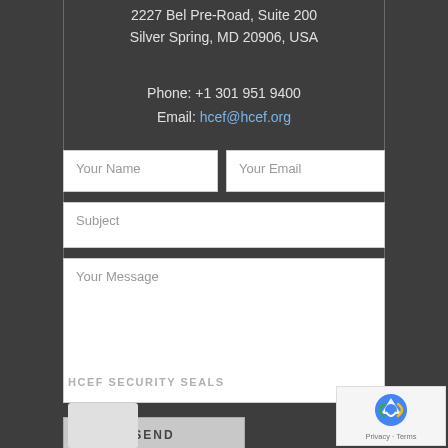2227 Bel Pre-Road, Suite 200
Silver Spring, MD 20906, USA
Phone: +1 301 951 9400
Email: hcef@hcef.org
[Figure (screenshot): Contact form with fields for Your Name, Your Email, Subject, Your Message, and a SEND button]
HCEF SECURITY SEALS
[Figure (logo): reCAPTCHA badge with Privacy and Terms links]